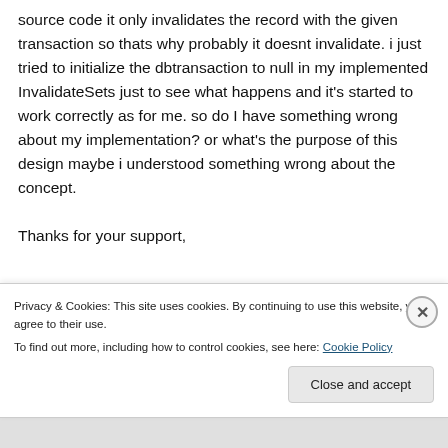source code it only invalidates the record with the given transaction so thats why probably it doesnt invalidate. i just tried to initialize the dbtransaction to null in my implemented InvalidateSets just to see what happens and it's started to work correctly as for me. so do I have something wrong about my implementation? or what's the purpose of this design maybe i understood something wrong about the concept.
Thanks for your support,
Privacy & Cookies: This site uses cookies. By continuing to use this website, you agree to their use.
To find out more, including how to control cookies, see here: Cookie Policy